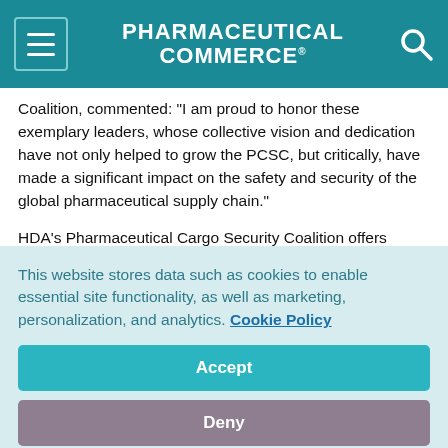PHARMACEUTICAL COMMERCE
Coalition, commented: "I am proud to honor these exemplary leaders, whose collective vision and dedication have not only helped to grow the PCSC, but critically, have made a significant impact on the safety and security of the global pharmaceutical supply chain."
HDA's Pharmaceutical Cargo Security Coalition offers supply chain security intelligence; access to contacts from industry, government and vendor trade disciplines; physical and supply chain security assessments; a reference library of supply chain security
This website stores data such as cookies to enable essential site functionality, as well as marketing, personalization, and analytics. Cookie Policy
Accept
Deny